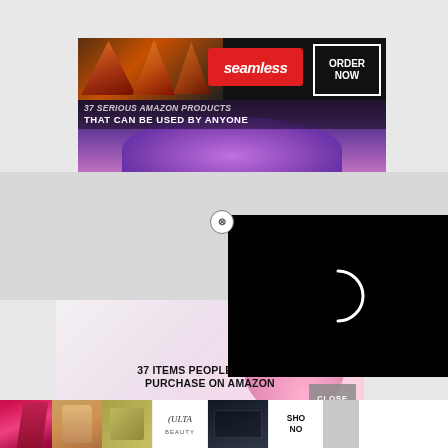[Figure (screenshot): Seamless food delivery advertisement banner with pizza slices on left, red Seamless logo box in center, and ORDER NOW box on right]
[Figure (screenshot): Article thumbnail showing purple glowing bowl with overlaid text about Amazon robots]
[Figure (screenshot): Article card showing '37 ITEMS PEOPLE LOVE TO PURCHASE ON AMAZON' with teal numbered badge and pink background]
[Figure (screenshot): Video loading overlay (black rectangle with white spinner circle) with X close button]
[Figure (screenshot): Bottom advertisement strip showing beauty product images and ULTA Beauty logo with SHOP NOW text]